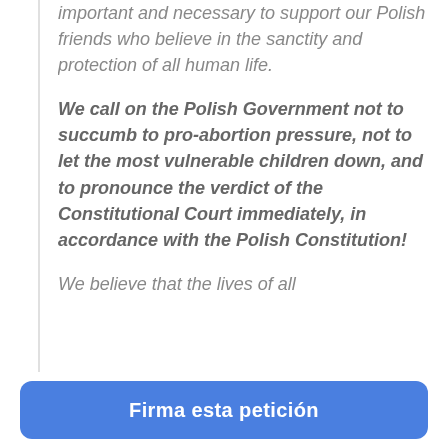important and necessary to support our Polish friends who believe in the sanctity and protection of all human life.
We call on the Polish Government not to succumb to pro-abortion pressure, not to let the most vulnerable children down, and to pronounce the verdict of the Constitutional Court immediately, in accordance with the Polish Constitution!
We believe that the lives of all
Firma esta petición